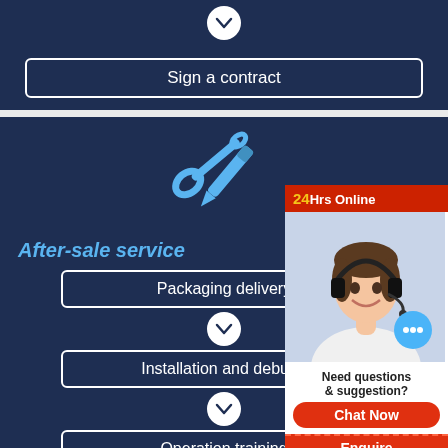[Figure (flowchart): Flowchart step: chevron down arrow circle above 'Sign a contract' box on dark navy background]
Sign a contract
[Figure (illustration): Crossed wrench and screwdriver tools icon in blue on dark navy background]
After-sale service
Packaging delivery
Installation and debugg
Operation training
[Figure (infographic): Chat widget overlay: '24Hrs Online' red banner, photo of smiling woman with headset, chat bubble, 'Need questions & suggestion?', 'Chat Now' button, 'Enquire' bar at bottom]